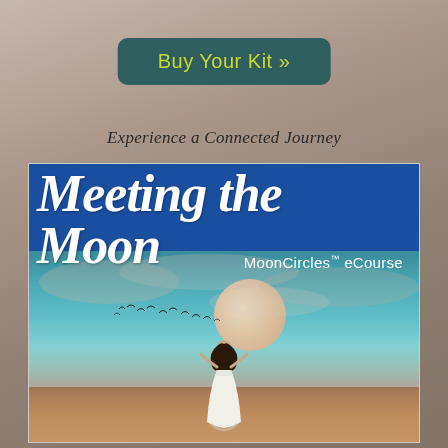Buy Your Kit »
Experience a Connected Journey
[Figure (illustration): Meeting the Moon MoonCircles eCourse promotional image showing a woman in white dress standing before a large moon over water with birds flying, teal/blue sky background with blue banner at top containing cursive text 'Meeting the Moon' and subtitle 'MoonCircles eCourse']